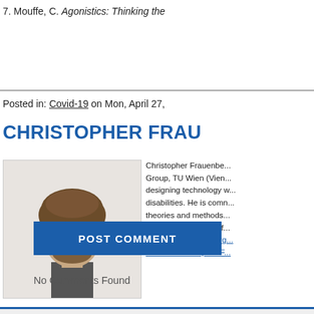7. Mouffe, C. Agonistics: Thinking the
Posted in: Covid-19 on Mon, April 27,
CHRISTOPHER FRAU
[Figure (photo): Headshot photo of Christopher Frauenberger, a man with curly brown hair and a beard wearing a dark shirt]
Christopher Frauenbe... Group, TU Wien (Vien... designing technology w... disabilities. He is comn... theories and methods... studies, philosophy of... christopher.frauenbers... View All Christopher F...